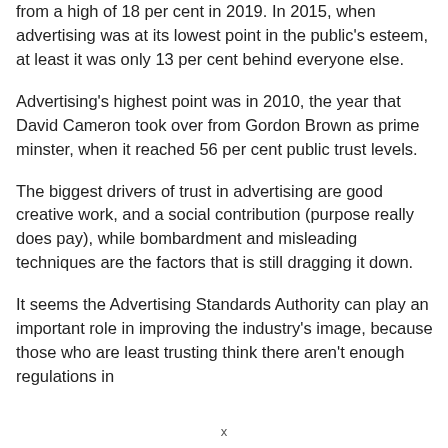from a high of 18 per cent in 2019. In 2015, when advertising was at its lowest point in the public's esteem, at least it was only 13 per cent behind everyone else.
Advertising's highest point was in 2010, the year that David Cameron took over from Gordon Brown as prime minster, when it reached 56 per cent public trust levels.
The biggest drivers of trust in advertising are good creative work, and a social contribution (purpose really does pay), while bombardment and misleading techniques are the factors that is still dragging it down.
It seems the Advertising Standards Authority can play an important role in improving the industry's image, because those who are least trusting think there aren't enough regulations in
x